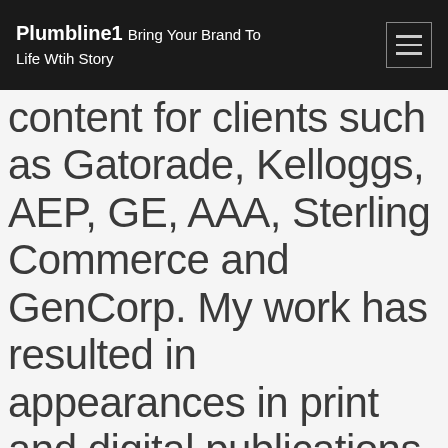Plumbline1 Bring Your Brand To Life Wtih Story
content for clients such as Gatorade, Kelloggs, AEP, GE, AAA, Sterling Commerce and GenCorp. My work has resulted in appearances in print and digital publications, including Information Week, Inc., Apartment Therapy, National Public Accountant, Discovering Ohio, Babble...